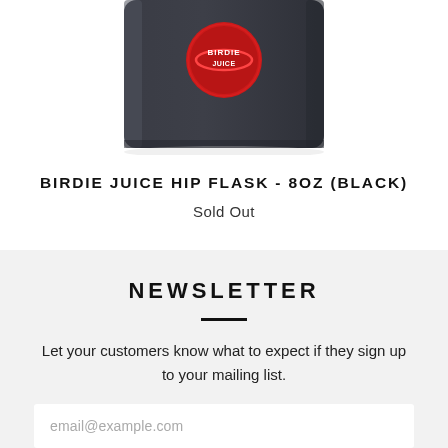[Figure (photo): Bottom portion of a black hip flask with a red circular logo/badge on it, shown against a white background.]
BIRDIE JUICE HIP FLASK - 8OZ (BLACK)
Sold Out
NEWSLETTER
Let your customers know what to expect if they sign up to your mailing list.
email@example.com